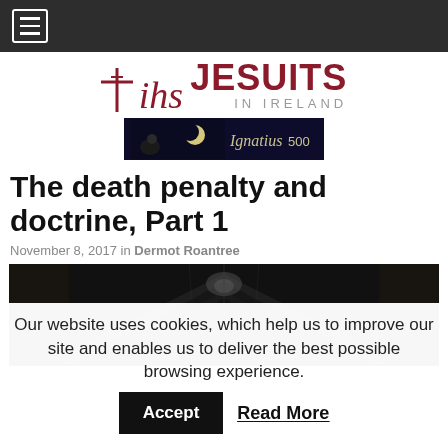Navigation bar with hamburger menu
[Figure (logo): IHS Jesuits in Ireland logo with cross symbol, dark red/maroon color]
[Figure (photo): Advertisement banner with dark night sky and moon, Ignatius500 text]
The death penalty and doctrine, Part 1
November 8, 2017 in Dermot Roantree
[Figure (photo): Black and white photograph of a dark corridor or hallway with dramatic perspective]
Our website uses cookies, which help us to improve our site and enables us to deliver the best possible browsing experience.  Accept  Read More